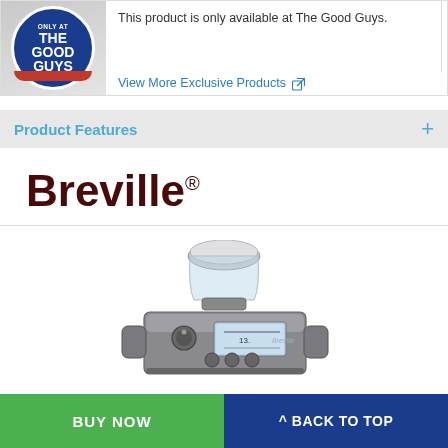[Figure (logo): The Good Guys logo — circular blue badge with red stripe at bottom, white text reading ONLY AT / THE / GOOD / GUYS]
This product is only available at The Good Guys.
View More Exclusive Products ↗
Product Features +
[Figure (logo): Breville® brand logo in dark maroon/burgundy bold serif font]
[Figure (photo): Breville coffee grinder product photo — stainless steel/dark silver smart grinder with glass hopper on top and LCD display panel]
BUY NOW
^ BACK TO TOP